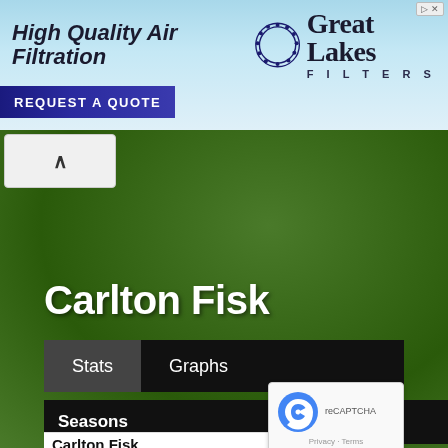[Figure (screenshot): Advertisement banner for Great Lakes Filters — High Quality Air Filtration with REQUEST A QUOTE button, blue sky background with logo circle]
[Figure (photo): Green grass texture background covering most of the page below the ad banner]
Carlton Fisk
Stats   Graphs
Seasons
Carlton Fisk
Check/Uncheck